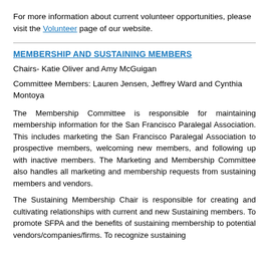For more information about current volunteer opportunities, please visit the Volunteer page of our website.
MEMBERSHIP AND SUSTAINING MEMBERS
Chairs- Katie Oliver and Amy McGuigan
Committee Members: Lauren Jensen, Jeffrey Ward and Cynthia Montoya
The Membership Committee is responsible for maintaining membership information for the San Francisco Paralegal Association. This includes marketing the San Francisco Paralegal Association to prospective members, welcoming new members, and following up with inactive members. The Marketing and Membership Committee also handles all marketing and membership requests from sustaining members and vendors.
The Sustaining Membership Chair is responsible for creating and cultivating relationships with current and new Sustaining members. To promote SFPA and the benefits of sustaining membership to potential vendors/companies/firms. To recognize sustaining